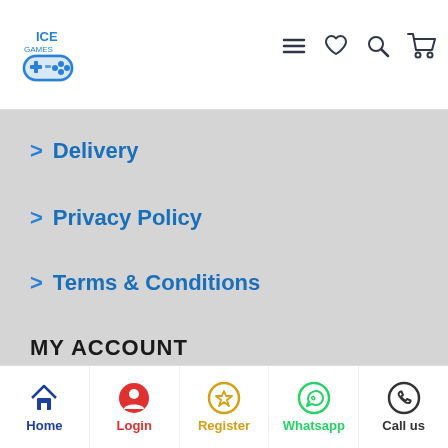[Figure (logo): ICE Games logo with blue gamepad icon and text]
[Figure (screenshot): Header navigation icons: hamburger menu, heart/wishlist, search, shopping cart]
> Delivery
> Privacy Policy
> Terms & Conditions
MY ACCOUNT
> My Account
> Order History
[Figure (screenshot): Green FILTER PRODUCTS button with filter/sliders icon]
CUSTOMER SER
[Figure (screenshot): Bottom navigation bar with Home, Login, Register, Whatsapp, Call us icons]